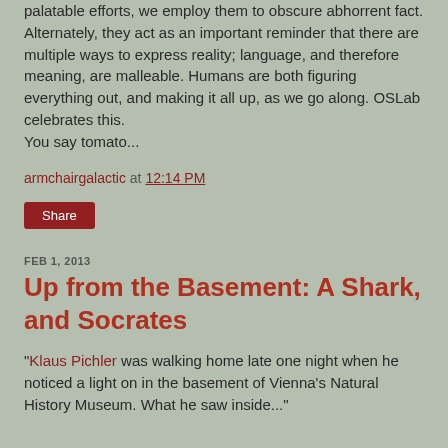palatable efforts, we employ them to obscure abhorrent fact. Alternately, they act as an important reminder that there are multiple ways to express reality; language, and therefore meaning, are malleable. Humans are both figuring everything out, and making it all up, as we go along. OSLab celebrates this.
You say tomato...
armchairgalactic at 12:14 PM
Share
FEB 1, 2013
Up from the Basement: A Shark, and Socrates
"Klaus Pichler was walking home late one night when he noticed a light on in the basement of Vienna's Natural History Museum. What he saw inside..."